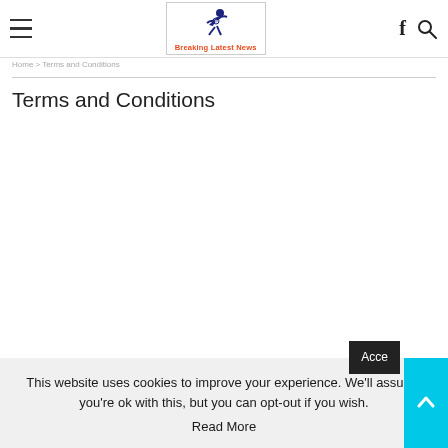Breaking Latest News
Terms and Conditions
This website uses cookies to improve your experience. We'll assume you're ok with this, but you can opt-out if you wish. Read More